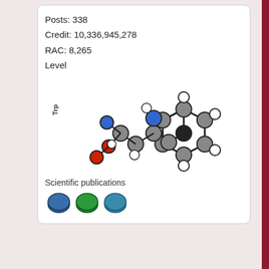Posts: 338
Credit: 10,336,945,278
RAC: 8,265
Level
[Figure (illustration): Molecule diagram of Tryptophan (Trp) with colored atom spheres: red, blue, white, gray, black]
Scientific publications
[Figure (illustration): Three circular badge icons: dark blue, green, and teal/blue]
</gpu_versions>
<fraction_done_exact>1</fr
</app>
<app>
<name>acemdshort</name>
<gpu_versions>
<cpu_usage>1.0</cpu_usage>
<gpu_usage>1.0</gpu_usage>
</gpu_versions>
<fraction_done_exact>1</fr
</app>
<app>
<name>QC</name>
<max_concurrent>8</max_con
<fraction_done_exact>1</fr
</app>
<app_version>
<app_name>QC</app_name>
<plan_class>mt</plan_class
<avg_ncpus>4</avg_ncpus>
</app_version>
<app>
<name>QC_beta</name>
<max_concurrent>1</max_con
<fraction_done_exact>1</fr
</app>
<app_version>